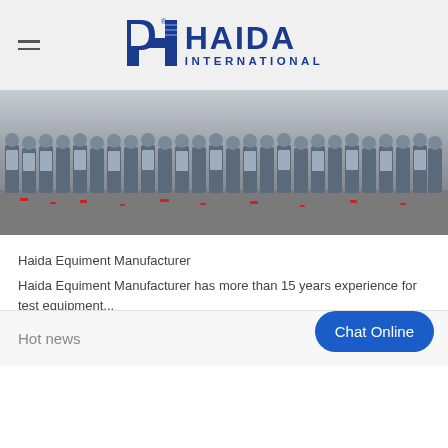HAIDA INTERNATIONAL
[Figure (photo): Large group photo of Haida International employees/staff sitting and standing together outdoors]
Haida Equiment Manufacturer
Haida Equiment Manufacturer has more than 15 years experience for test equipment...
Haida Factory
Haida Service
Production Brouchure
Hot news